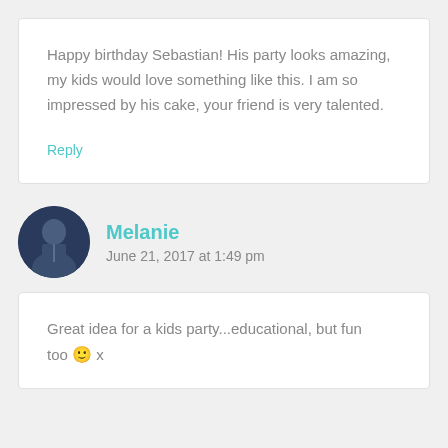Happy birthday Sebastian! His party looks amazing, my kids would love something like this. I am so impressed by his cake, your friend is very talented.
Reply
Melanie
June 21, 2017 at 1:49 pm
Great idea for a kids party...educational, but fun too 🙂 x